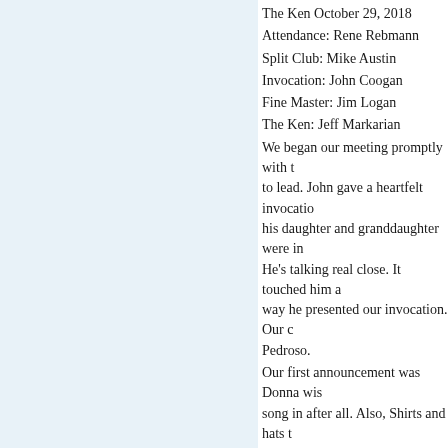The Ken October 29, 2018
Attendance: Rene Rebmann
Split Club: Mike Austin
Invocation: John Coogan
Fine Master: Jim Logan
The Ken: Jeff Markarian
We began our meeting promptly with t... to lead. John gave a heartfelt invocatio... his daughter and granddaughter were in... He's talking real close. It touched him a... way he presented our invocation. Our c... Pedroso.
Our first announcement was Donna wis... song in after all. Also, Shirts and hats t... arrange with Pat to pick them up. I'd sa... members don't come. Holly, with a nuc... have their first Wine Event meeting Mo... Venue, concept, time etc. It sounds like... not willing to commit to the committee... hang out with us.
With no further announcements, Jim to... after hearing donuts were being served... they were gone when she arrived. Phil... had four. I thought she looked about a g... birthday wish with the Red Sox winnin... wonderful evening with Pastor Rick fro... Bonamassa concert. Mike Austin tried... corner of Delaware and Brighton. Mike...